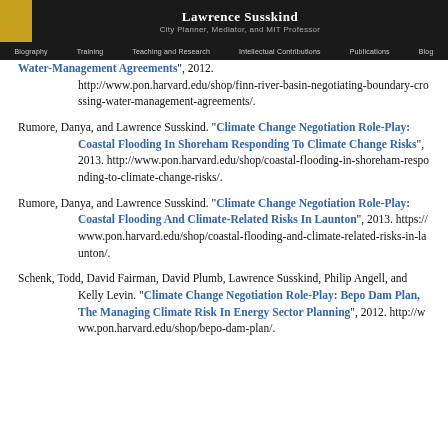Lawrence Susskind / City Planner, Mediator, and MIT Professor
Water-Management Agreements", 2012. http://www.pon.harvard.edu/shop/finn-river-basin-negotiating-boundary-crossing-water-management-agreements/.
Rumore, Danya, and Lawrence Susskind. “Climate Change Negotiation Role-Play: Coastal Flooding In Shoreham Responding To Climate Change Risks", 2013. http://www.pon.harvard.edu/shop/coastal-flooding-in-shoreham-responding-to-climate-change-risks/.
Rumore, Danya, and Lawrence Susskind. “Climate Change Negotiation Role-Play: Coastal Flooding And Climate-Related Risks In Launton", 2013. https://www.pon.harvard.edu/shop/coastal-flooding-and-climate-related-risks-in-launton/.
Schenk, Todd, David Fairman, David Plumb, Lawrence Susskind, Philip Angell, and Kelly Levin. “Climate Change Negotiation Role-Play: Bepo Dam Plan, The Managing Climate Risk In Energy Sector Planning", 2012. http://www.pon.harvard.edu/shop/bepo-dam-plan/.